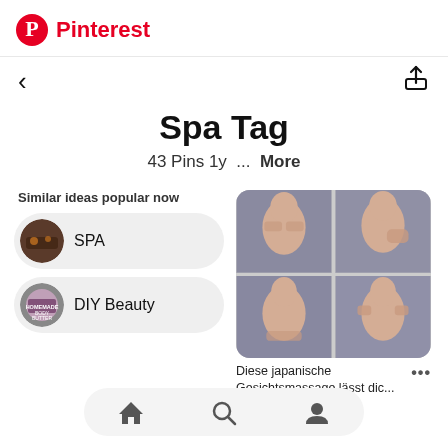Pinterest
Spa Tag
43 Pins 1y ... More
Similar ideas popular now
SPA
DIY Beauty
[Figure (photo): 4-panel grid of a woman performing Japanese facial massage techniques, on grey background]
Diese japanische Gesichtsmassage lässt dic...